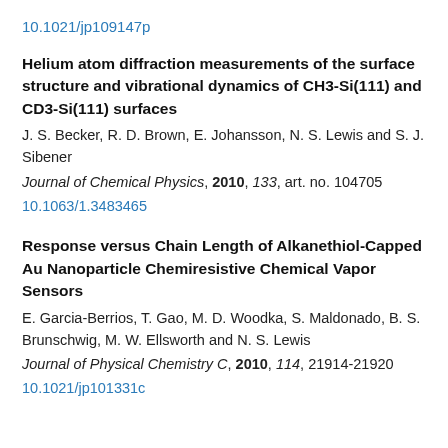10.1021/jp109147p
Helium atom diffraction measurements of the surface structure and vibrational dynamics of CH3-Si(111) and CD3-Si(111) surfaces
J. S. Becker, R. D. Brown, E. Johansson, N. S. Lewis and S. J. Sibener
Journal of Chemical Physics, 2010, 133, art. no. 104705
10.1063/1.3483465
Response versus Chain Length of Alkanethiol-Capped Au Nanoparticle Chemiresistive Chemical Vapor Sensors
E. Garcia-Berrios, T. Gao, M. D. Woodka, S. Maldonado, B. S. Brunschwig, M. W. Ellsworth and N. S. Lewis
Journal of Physical Chemistry C, 2010, 114, 21914-21920
10.1021/jp101331c